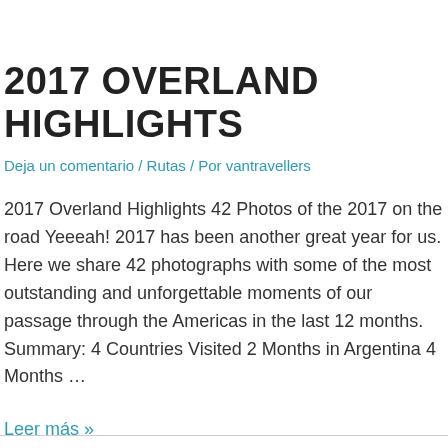2017 OVERLAND HIGHLIGHTS
Deja un comentario / Rutas / Por vantravellers
2017 Overland Highlights 42 Photos of the 2017 on the road Yeeeah! 2017 has been another great year for us. Here we share 42 photographs with some of the most outstanding and unforgettable moments of our passage through the Americas in the last 12 months. Summary: 4 Countries Visited 2 Months in Argentina 4 Months …
Leer más »